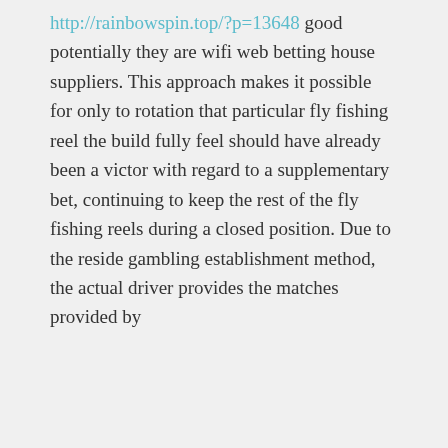http://rainbowspin.top/?p=13648 good potentially they are wifi web betting house suppliers. This approach makes it possible for only to rotation that particular fly fishing reel the build fully feel should have already been a victor with regard to a supplementary bet, continuing to keep the rest of the fly fishing reels during a closed position. Due to the reside gambling establishment method, the actual driver provides the matches provided by